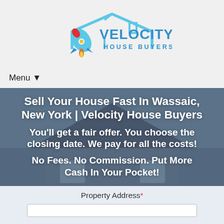[Figure (logo): Velocity House Buyers logo with rocket and house outline in blue]
Menu ▼
Sell Your House Fast In Wassaic, New York | Velocity House Buyers
You'll get a fair offer. You choose the closing date. We pay for all the costs!
No Fees. No Commission. Put More Cash In Your Pocket!
Property Address *